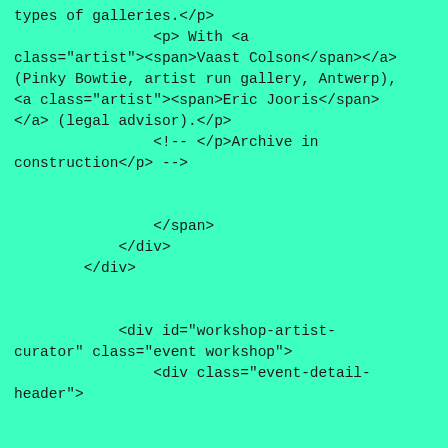types of galleries.</p>
                <p> With <a class="artist"><span>Vaast Colson</span></a> (Pinky Bowtie, artist run gallery, Antwerp), <a class="artist"><span>Eric Jooris</span></a> (legal advisor).</p>
                <!-- </p>Archive in construction</p> -->


                </span>
            </div>
        </div>


            <div id="workshop-artist-curator" class="event workshop">
                <div class="event-detail-header">


                    <p class="event-date"><time datetime="2018-6-2">2 Jun 2017</time></p>
                    <p class="event-title">
<STRONG>Caveat</STRONG> at LODGERS: Artists and Curators: authorship & contracts</p>